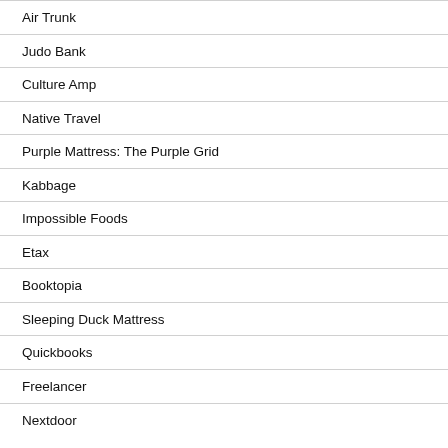Air Trunk
Judo Bank
Culture Amp
Native Travel
Purple Mattress: The Purple Grid
Kabbage
Impossible Foods
Etax
Booktopia
Sleeping Duck Mattress
Quickbooks
Freelancer
Nextdoor